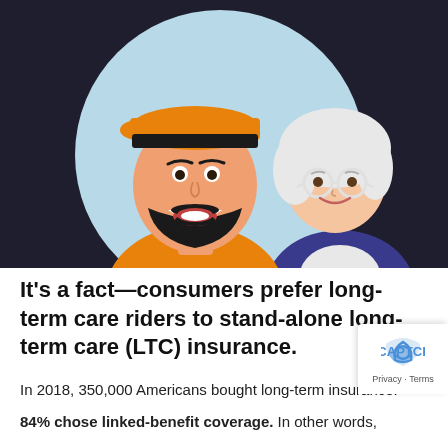[Figure (illustration): Cartoon illustration of two smiling people — a younger man wearing an orange shirt and orange cap, and an older woman with white hair and glasses wearing a purple jacket — against a light blue circular background on a dark background.]
It's a fact—consumers prefer long-term care riders to stand-alone long-term care (LTC) insurance.
In 2018, 350,000 Americans bought long-term insurance.¹
84% chose linked-benefit coverage. In other words,